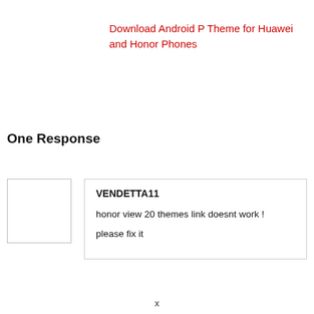Download Android P Theme for Huawei and Honor Phones
One Response
VENDETTA11
honor view 20 themes link doesnt work !
please fix it